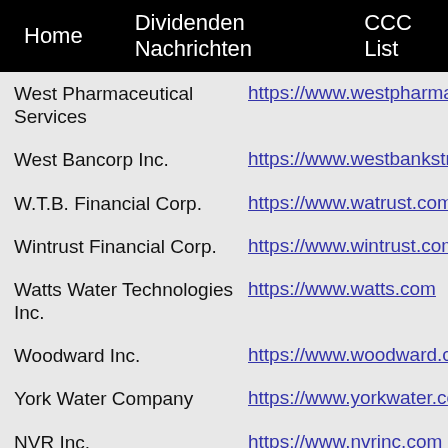Home   Dividenden Nachrichten   CCC List
West Pharmaceutical Services | https://www.westpharma.com
West Bancorp Inc. | https://www.westbankstrong.c
W.T.B. Financial Corp. | https://www.watrust.com
Wintrust Financial Corp. | https://www.wintrust.com
Watts Water Technologies Inc. | https://www.watts.com
Woodward Inc. | https://www.woodward.com
York Water Company | https://www.yorkwater.com
NVR Inc. | https://www.nvrinc.com
National Storage Affiliates Trust | https://www.nationalstoragea
STORE Capital Corp | https://www.storecapital.com
Air Liquide SA | https://www.airliquide.com
Amadeus IT Group SA | https://www.amadeus.com